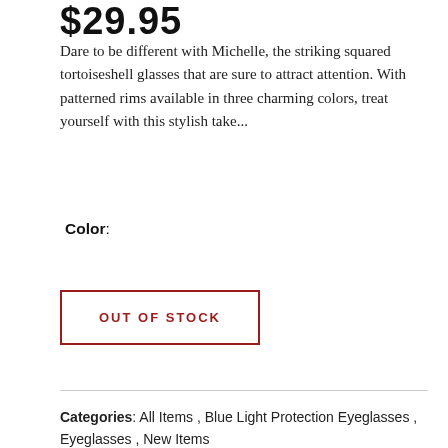$29.95
Dare to be different with Michelle, the striking squared tortoiseshell glasses that are sure to attract attention. With patterned rims available in three charming colors, treat yourself with this stylish take...
Color:
OUT OF STOCK
Categories: All Items , Blue Light Protection Eyeglasses , Eyeglasses , New Items
Tags: Blue Light Blocking , brown , cat eye , classic , clear , clear lens , curved , large frame , luxury , men